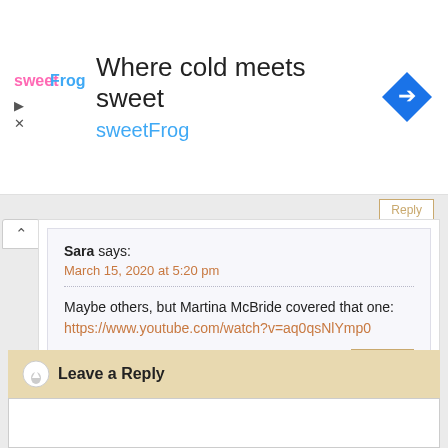[Figure (logo): sweetFrog advertisement banner with logo, title 'Where cold meets sweet', subtitle 'sweetFrog', and navigation icon]
Sara says: March 15, 2020 at 5:20 pm
Maybe others, but Martina McBride covered that one: https://www.youtube.com/watch?v=aq0qsNlYmp0
Leave a Reply